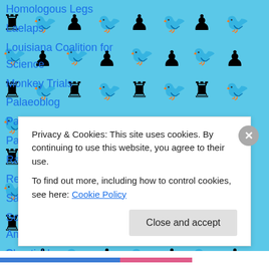[Figure (illustration): Light blue background tiled with alternating chess piece (rook/bishop) and pigeon emoji icons in a grid pattern]
Homologous Legs
Laelaps
Louisiana Coalition for Science
Monkey Trials
Palaeoblog
Panda's Thumb
Paranormal Amerika
Rationally Speaking
Recursivity
Sandwalk
Science League of America
Skepticblog
Stones and Bones
Privacy & Cookies: This site uses cookies. By continuing to use this website, you agree to their use.
To find out more, including how to control cookies, see here: Cookie Policy
Close and accept